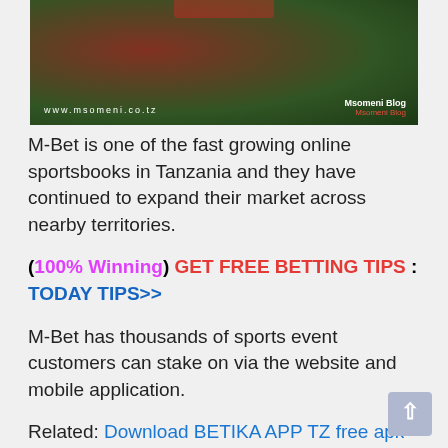[Figure (screenshot): A blurred sports/football image with dark red and green tones. Shows 'www.msomeni.co.tz' watermark on the bottom left and 'Msomeni Blog' on the bottom right in white and red text. Red bar visible at top center.]
M-Bet is one of the fast growing online sportsbooks in Tanzania and they have continued to expand their market across nearby territories.
(100% Winning) GET FREE BETTING TIPS : TODAY TIPS>>
M-Bet has thousands of sports event customers can stake on via the website and mobile application.
Related: Download BETIKA APP TZ free apk
M-Bet is available on Android devices while iOS users can use the simplified website view to explore their favourite events.